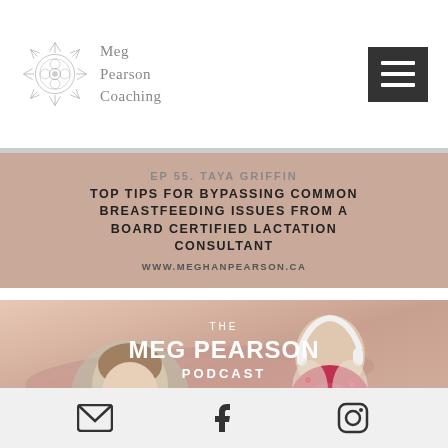[Figure (logo): Meg Pearson Coaching logo with starburst/mandala design and text 'Meg Pearson Coaching']
[Figure (screenshot): Hamburger menu button (three horizontal lines on dark background)]
[Figure (photo): Partial photo of a person in a floral jacket in the top right corner]
EP 55. TAYA GRIFFIN
TOP TIPS FOR BYPASSING COMMON BREASTFEEDING ISSUES FROM A BOARD CERTIFIED LACTATION CONSULTANT
WWW.MEGHANPEARSON.CA
[Figure (photo): The Meg Pearson Podcast promotional image featuring two women — one with glasses (in foreground) and one pregnant woman wearing headphones (Meg Pearson) on a pink/beige background with brush stroke. Text reads: THE MEG PEARSON PODCAST]
[Figure (infographic): Social media footer bar with email icon, Facebook icon, and Instagram icon]